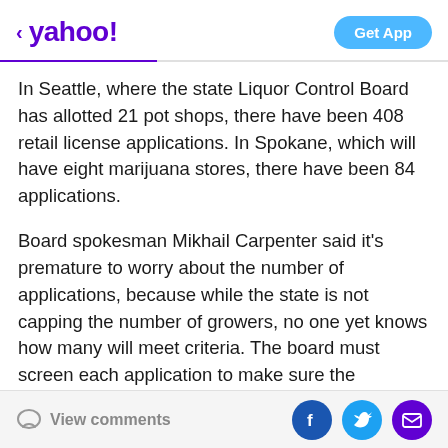< yahoo! | Get App
In Seattle, where the state Liquor Control Board has allotted 21 pot shops, there have been 408 retail license applications. In Spokane, which will have eight marijuana stores, there have been 84 applications.
Board spokesman Mikhail Carpenter said it's premature to worry about the number of applications, because while the state is not capping the number of growers, no one yet knows how many will meet criteria. The board must screen each application to make sure the proposed locations aren't within 1,000 feet of schools, parks, daycares or other locations where children frequent. Officials must also conduct background checks on
View comments